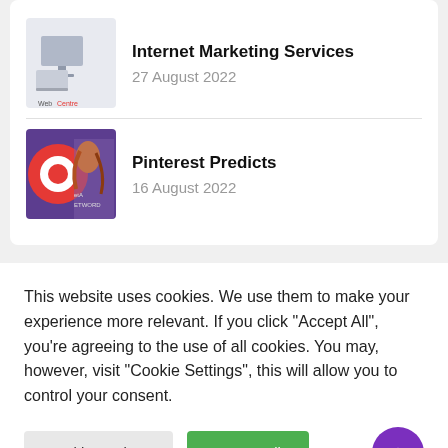Internet Marketing Services
27 August 2022
Pinterest Predicts
16 August 2022
This website uses cookies. We use them to make your experience more relevant. If you click "Accept All", you're agreeing to the use of all cookies. You may, however, visit "Cookie Settings", this will allow you to control your consent.
Cookie Settings | Accept All